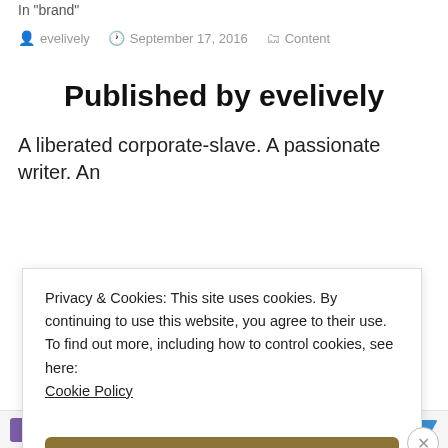In "brand"
evelively  September 17, 2016  Content
Published by evelively
A liberated corporate-slave. A passionate writer. An
Privacy & Cookies: This site uses cookies. By continuing to use this website, you agree to their use.
To find out more, including how to control cookies, see here: Cookie Policy
Close and accept